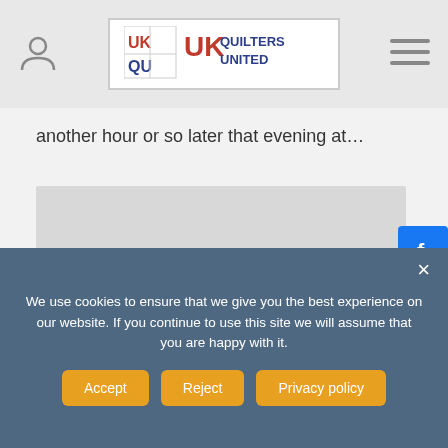UK Quilters United
another hour or so later that evening at…
[Figure (screenshot): Gray placeholder content block]
[Figure (other): Social media share buttons: Facebook, Twitter, Pinterest, Google+]
We use cookies to ensure that we give you the best experience on our website. If you continue to use this site we will assume that you are happy with it.
Accept | Reject | Privacy policy